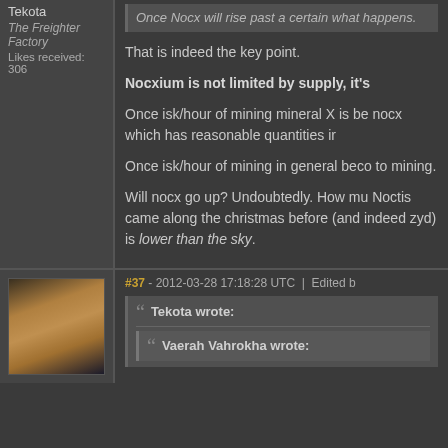Tekota
The Freighter Factory
Likes received: 306
Once Nocx will rise past a certain what happens.

That is indeed the key point.

Nocxium is not limited by supply, it's

Once isk/hour of mining mineral X is be nocx which has reasonable quantities ir

Once isk/hour of mining in general beco to mining.

Will nocx go up? Undoubtedly. How mu Noctis came along the christmas before (and indeed zyd) is lower than the sky.
[Figure (photo): Avatar image of a person wearing sunglasses, dark background]
#37 - 2012-03-28 17:18:28 UTC | Edited b
Tekota wrote:
Vaerah Vahrokha wrote: